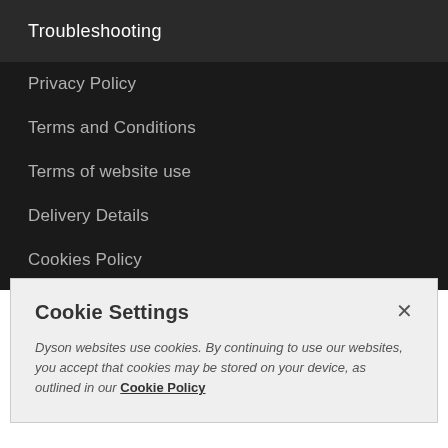Troubleshooting
Privacy Policy
Terms and Conditions
Terms of website use
Delivery Details
Cookies Policy
Cookie settings
Your right to cancel
Consumer rights
Cookie Settings
Dyson websites use cookies. By continuing to use our websites, you accept that cookies may be stored on your device, as outlined in our Cookie Policy